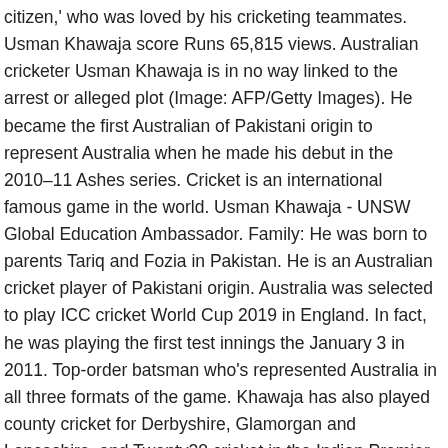citizen,' who was loved by his cricketing teammates. Usman Khawaja score Runs 65,815 views. Australian cricketer Usman Khawaja is in no way linked to the arrest or alleged plot (Image: AFP/Getty Images). He became the first Australian of Pakistani origin to represent Australia when he made his debut in the 2010–11 Ashes series. Cricket is an international famous game in the world. Usman Khawaja - UNSW Global Education Ambassador. Family: He was born to parents Tariq and Fozia in Pakistan. He is an Australian cricket player of Pakistani origin. Australia was selected to play ICC cricket World Cup 2019 in England. In fact, he was playing the first test innings the January 3 in 2011. Top-order batsman who's represented Australia in all three formats of the game. Khawaja has also played county cricket for Derbyshire, Glamorgan and Lancashire, and Twenty20 cricket in the Indian Premier League for the now defunct Rising Pune Supergiant franchise. [23][24] He played a match saving innings against Pakistan in the first test in 2018 at Dubai. Khawaja is a left-handed middle-order batsman, he